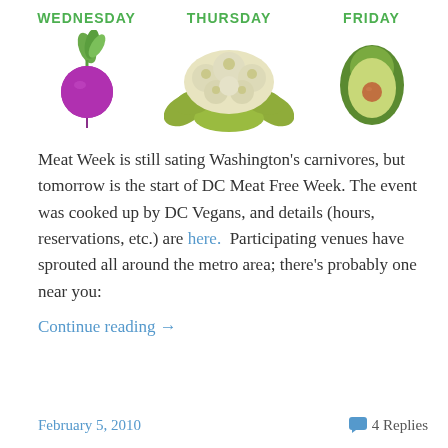[Figure (illustration): Three vegetable illustrations arranged in a row under day labels: a purple radish/beet under WEDNESDAY, a cauliflower under THURSDAY, and an avocado under FRIDAY. Day labels in green bold caps above each vegetable.]
Meat Week is still sating Washington’s carnivores, but tomorrow is the start of DC Meat Free Week. The event was cooked up by DC Vegans, and details (hours, reservations, etc.) are here.  Participating venues have sprouted all around the metro area; there’s probably one near you:
Continue reading →
February 5, 2010    4 Replies